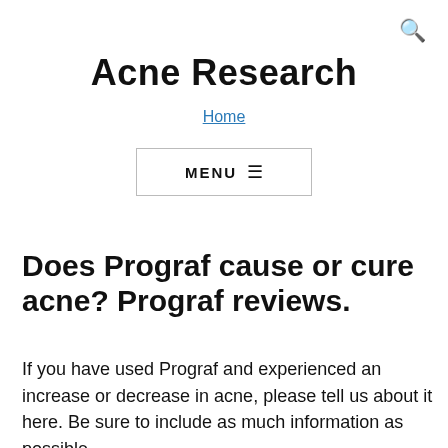🔍
Acne Research
Home
MENU ≡
Does Prograf cause or cure acne? Prograf reviews.
If you have used Prograf and experienced an increase or decrease in acne, please tell us about it here. Be sure to include as much information as possible,